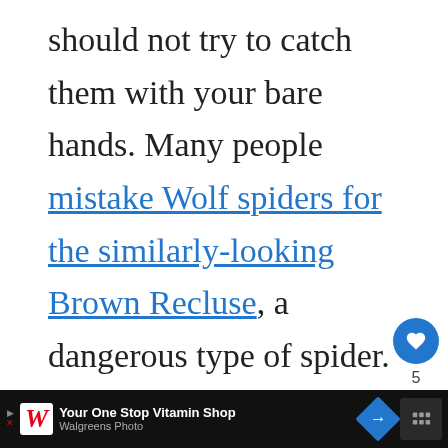should not try to catch them with your bare hands. Many people mistake Wolf spiders for the similarly-looking Brown Recluse, a dangerous type of spider. Others mistake it with the Black Widow, another spider with a dangerous bite.
[Figure (screenshot): Social media sidebar with heart/like button (showing 5 likes) and share button]
ADVERTISEMENT
[Figure (screenshot): Advertisement banner with pink background, dark circle graphic design, and a 'What's Next' panel showing Wolf Spiders in Michigan article thumbnail]
[Figure (screenshot): Bottom banner ad: Walgreens Photo - Your One Stop Vitamin Shop]